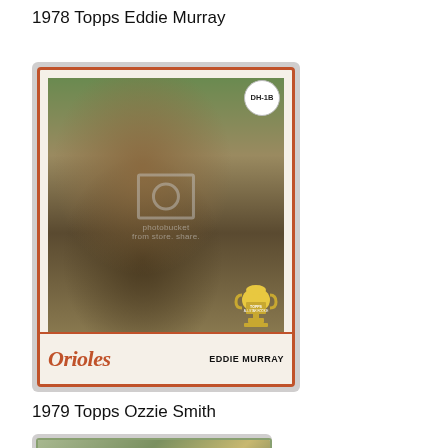1978 Topps Eddie Murray
[Figure (photo): 1978 Topps baseball card of Eddie Murray in Baltimore Orioles uniform, showing him in batting stance. Card features orange border, 'DH-1B' position badge, Topps All-Star Rookie trophy graphic, team name 'Orioles' in cursive, and player name 'EDDIE MURRAY' at bottom. Has Photobucket watermark overlay.]
1979 Topps Ozzie Smith
[Figure (photo): Partially visible 1979 Topps baseball card of Ozzie Smith, showing top portion of card with player in baseball uniform.]